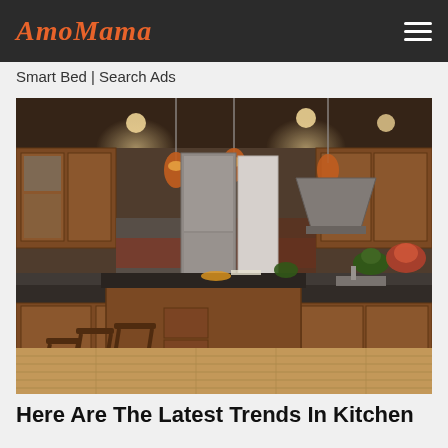AmoMama
Smart Bed | Search Ads
[Figure (photo): Luxury kitchen interior with warm wood cabinetry, large center island with dark countertop, three bar stools, pendant lights, stainless steel appliances, and light hardwood flooring.]
Here Are The Latest Trends In Kitchen